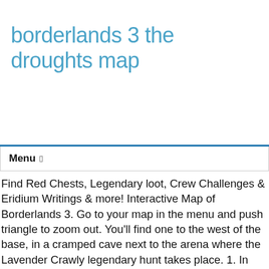borderlands 3 the droughts map
Menu
Find Red Chests, Legendary loot, Crew Challenges & Eridium Writings & more! Interactive Map of Borderlands 3. Go to your map in the menu and push triangle to zoom out. You'll find one to the west of the base, in a cramped cave next to the arena where the Lavender Crawly legendary hunt takes place. 1. In The Droughts, head to the area marked on the map below in the red circle. Your map orientation may be different to the